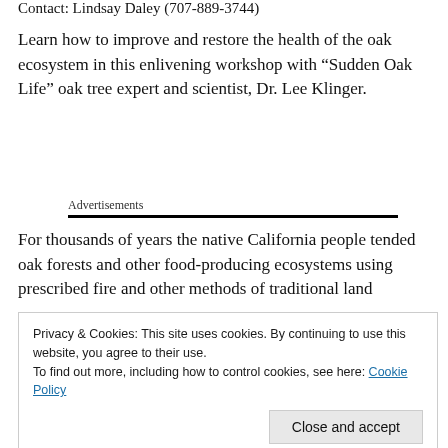Contact: Lindsay Daley (707-889-3744)
Learn how to improve and restore the health of the oak ecosystem in this enlivening workshop with “Sudden Oak Life” oak tree expert and scientist, Dr. Lee Klinger.
Advertisements
For thousands of years the native California people tended oak forests and other food-producing ecosystems using prescribed fire and other methods of traditional land
Privacy & Cookies: This site uses cookies. By continuing to use this website, you agree to their use.
To find out more, including how to control cookies, see here: Cookie Policy
Join Dr. Klinger as he demonstrates various “fire mimicry”